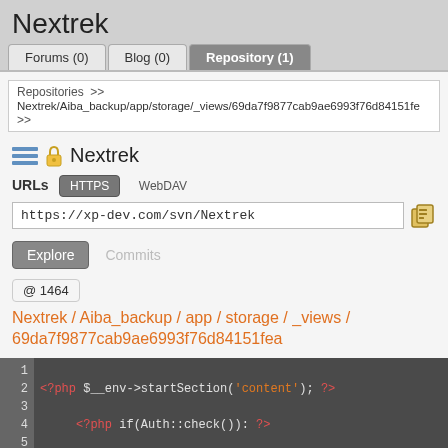Nextrek
Forums (0)  Blog (0)  Repository (1)
Repositories >> Nextrek/Aiba_backup/app/storage/_views/69da7f9877cab9ae6993f76d84151fe >>
Nextrek
URLs  HTTPS  WebDAV
https://xp-dev.com/svn/Nextrek
Explore  Commits
@ 1464
Nextrek / Aiba_backup / app / storage / _views / 69da7f9877cab9ae6993f76d84151fea
1  <?php $__env->startSection('content'); ?>
2       <?php if(Auth::check()): ?>
3            <?php if(Session::has('message')): ?>
4                 <!--<p class="flash-notice"><?ph
5            <?php endif; ?>
6
7            <div class="img-titolo">
8            <div><br><h2>Area riservatas/h2>